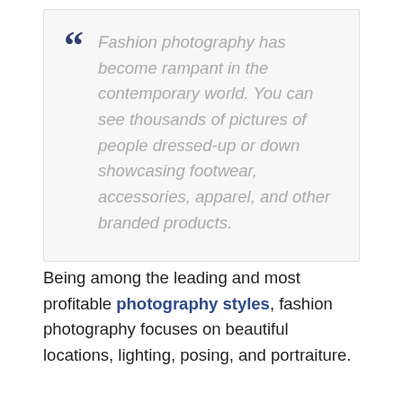Fashion photography has become rampant in the contemporary world. You can see thousands of pictures of people dressed-up or down showcasing footwear, accessories, apparel, and other branded products.
Being among the leading and most profitable photography styles, fashion photography focuses on beautiful locations, lighting, posing, and portraiture.